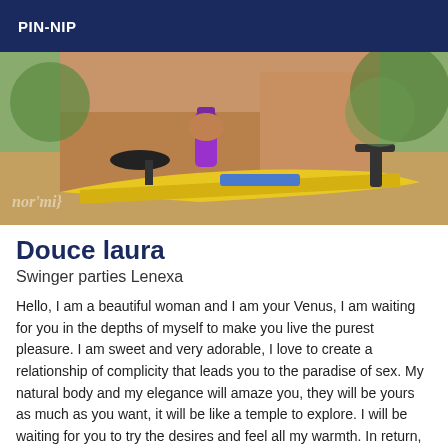PIN-NIP
[Figure (photo): Photo of a person near a yellow bicycle with blue accents outdoors, holding a purple water bottle]
Douce laura
Swinger parties Lenexa
Hello, I am a beautiful woman and I am your Venus, I am waiting for you in the depths of myself to make you live the purest pleasure. I am sweet and very adorable, I love to create a relationship of complicity that leads you to the paradise of sex. My natural body and my elegance will amaze you, they will be yours as much as you want, it will be like a temple to explore. I will be waiting for you to try the desires and feel all my warmth. In return, all I ask in return is courtesy, cleanliness, kindness,